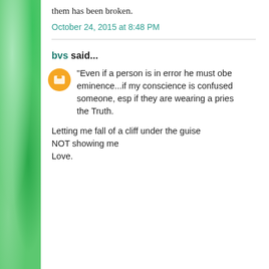them has been broken.
October 24, 2015 at 8:48 PM
bvs said...
"Even if a person is in error he must obe eminence...if my conscience is confused someone, esp if they are wearing a pries the Truth.

Letting me fall of a cliff under the guise NOT showing me Love.